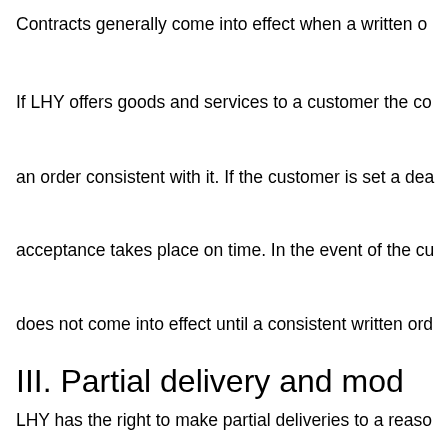Contracts generally come into effect when a written o
If LHY offers goods and services to a customer the co
an order consistent with it. If the customer is set a dea
acceptance takes place on time. In the event of the cu
does not come into effect until a consistent written ord
III. Partial delivery and mod
LHY has the right to make partial deliveries to a reaso
not in the customer's interest or if the performance no
design and construction modifications to goods durin